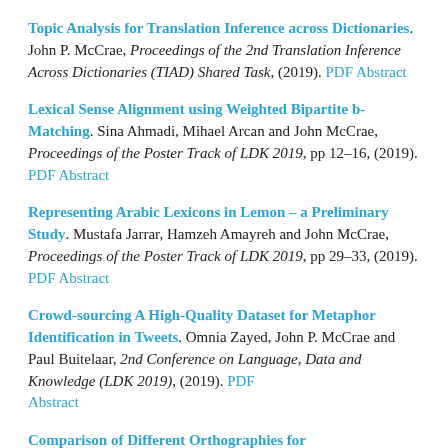Topic Analysis for Translation Inference across Dictionaries. John P. McCrae, Proceedings of the 2nd Translation Inference Across Dictionaries (TIAD) Shared Task, (2019). PDF Abstract
Lexical Sense Alignment using Weighted Bipartite b-Matching. Sina Ahmadi, Mihael Arcan and John McCrae, Proceedings of the Poster Track of LDK 2019, pp 12–16, (2019). PDF Abstract
Representing Arabic Lexicons in Lemon – a Preliminary Study. Mustafa Jarrar, Hamzeh Amayreh and John McCrae, Proceedings of the Poster Track of LDK 2019, pp 29–33, (2019). PDF Abstract
Crowd-sourcing A High-Quality Dataset for Metaphor Identification in Tweets. Omnia Zayed, John P. McCrae and Paul Buitelaar, 2nd Conference on Language, Data and Knowledge (LDK 2019), (2019). PDF Abstract
Comparison of Different Orthographies for